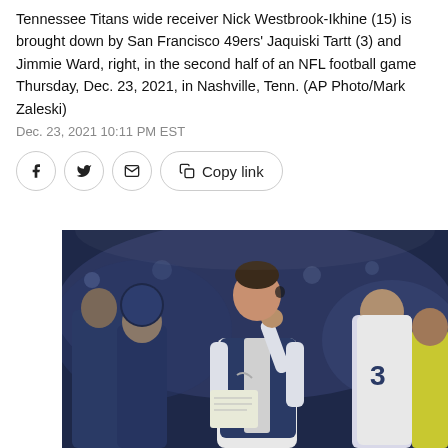Tennessee Titans wide receiver Nick Westbrook-Ikhine (15) is brought down by San Francisco 49ers' Jaquiski Tartt (3) and Jimmie Ward, right, in the second half of an NFL football game Thursday, Dec. 23, 2021, in Nashville, Tenn. (AP Photo/Mark Zaleski)
Dec. 23, 2021 10:11 PM EST
[Figure (photo): A Tennessee Titans coach (wearing a dark blue vest over white long-sleeve shirt, holding a play sheet) stands on the sideline during an NFL night game, with other coaches and players visible in the background.]